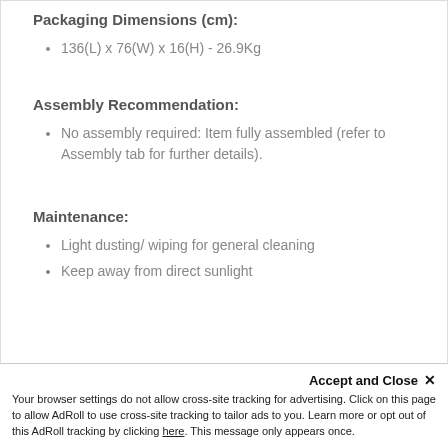Packaging Dimensions (cm):
136(L) x 76(W) x 16(H) - 26.9Kg
Assembly Recommendation:
No assembly required: Item fully assembled (refer to Assembly tab for further details).
Maintenance:
Light dusting/ wiping for general cleaning
Keep away from direct sunlight
Accept and Close ✕
Your browser settings do not allow cross-site tracking for advertising. Click on this page to allow AdRoll to use cross-site tracking to tailor ads to you. Learn more or opt out of this AdRoll tracking by clicking here. This message only appears once.